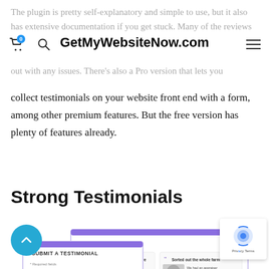The plugin is pretty self-explanatory and simple to use, but it also has extensive documentation if you get stuck. Many of the reviews also note that the developer is quick to help out with any issues. There's also a Pro version that lets you collect testimonials on your website front end with a form, among other premium features. But the free version has plenty of features already.
GetMyWebsiteNow.com
Strong Testimonials
[Figure (screenshot): Screenshot showing two overlapping UI panels: a 'Submit a Testimonial' form panel on the left with fields for Name, Email, and Testimonial, and a 'Testimonials' display panel on the right showing two testimonial cards with photos and quotes.]